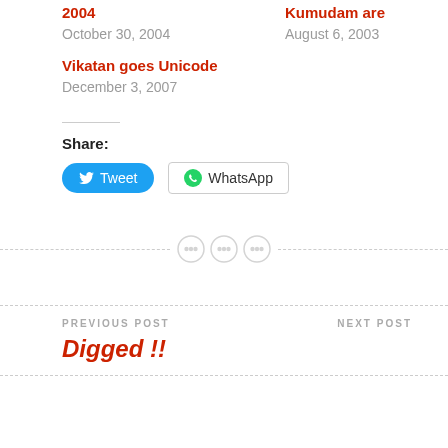2004
October 30, 2004
Kumudam are
August 6, 2003
Vikatan goes Unicode
December 3, 2007
Share:
[Figure (other): Tweet button (blue rounded) and WhatsApp button (white bordered) for sharing]
[Figure (other): Decorative divider with three button/dot icons in a dashed horizontal line]
PREVIOUS POST
Digged !!
NEXT POST